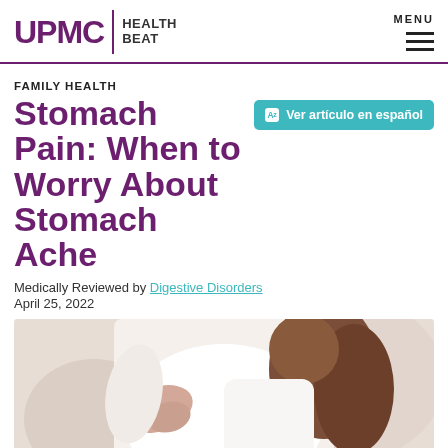UPMC HEALTH BEAT | MENU
FAMILY HEALTH
Stomach Pain: When to Worry About Stomach Ache
Ver artículo en español
Medically Reviewed by Digestive Disorders
April 25, 2022
[Figure (photo): Woman in white long-sleeve shirt holding her stomach/back, suggesting abdominal pain, photographed from behind/side]